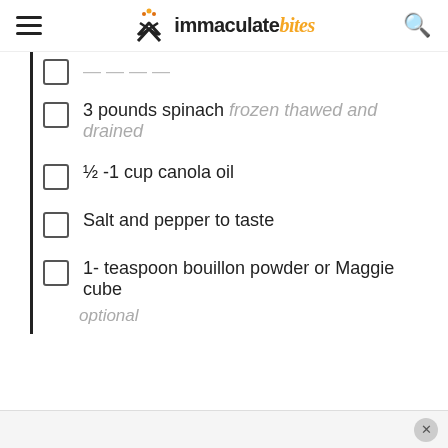immaculate bites
3 pounds spinach frozen thawed and drained
½ -1 cup canola oil
Salt and pepper to taste
1- teaspoon bouillon powder or Maggie cube optional